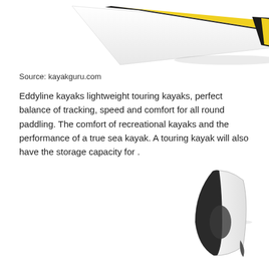[Figure (photo): Top portion of a yellow and white sea kayak viewed from above at an angle, showing the bow end tapering to a point against a white background]
Source: kayakguru.com
Eddyline kayaks lightweight touring kayaks, perfect balance of tracking, speed and comfort for all round paddling. The comfort of recreational kayaks and the performance of a true sea kayak. A touring kayak will also have the storage capacity for .
[Figure (photo): Two views of a yellow sea kayak: side profile view (left) and top-down/overhead view (right) showing the kayak's deck rigging, cockpit and hull design against a white background]